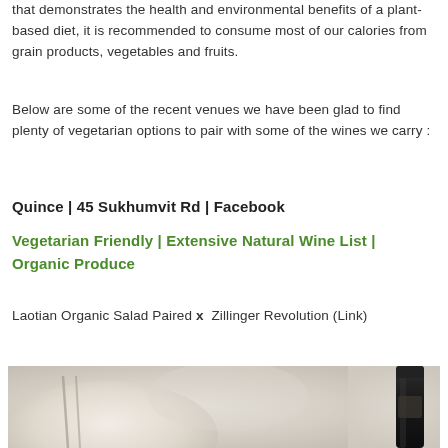that demonstrates the health and environmental benefits of a plant-based diet, it is recommended to consume most of our calories from grain products, vegetables and fruits.
Below are some of the recent venues we have been glad to find plenty of vegetarian options to pair with some of the wines we carry :
Quince | 45 Sukhumvit Rd | Facebook
Vegetarian Friendly | Extensive Natural Wine List | Organic Produce
Laotian Organic Salad Paired x  Zillinger Revolution (Link)
[Figure (photo): Photo showing a food dish (plate/salad) on the left side and a dark wine bottle on the right side against a soft blurred background]